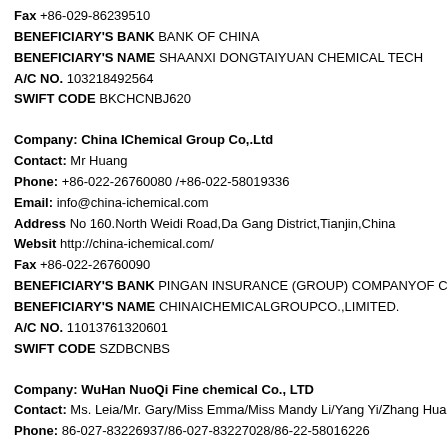Fax  +86-029-86239510
BENEFICIARY'S BANK  BANK OF CHINA
BENEFICIARY'S NAME  SHAANXI DONGTAIYUAN CHEMICAL TECH
A/C NO.  103218492564
SWIFT CODE  BKCHCNBJ620
Company:  China IChemical Group Co,.Ltd
Contact:   Mr Huang
Phone:   +86-022-26760080 /+86-022-58019336
Email:   info@china-ichemical.com
Address  No 160.North Weidi Road,Da Gang District,Tianjin,China
Websit  http://china-ichemical.com/
Fax  +86-022-26760090
BENEFICIARY'S BANK  PINGAN INSURANCE (GROUP) COMPANYOF CHIN.
BENEFICIARY'S NAME  CHINAICHEMICALGROUPCO.,LIMITED.
A/C NO.  11013761320601
SWIFT CODE  SZDBCNBS
Company:  WuHan NuoQi Fine chemical Co., LTD
Contact:   Ms. Leia/Mr. Gary/Miss Emma/Miss Mandy Li/Yang Yi/Zhang Hua
Phone:   86-027-83226937/86-027-83227028/86-22-58016226